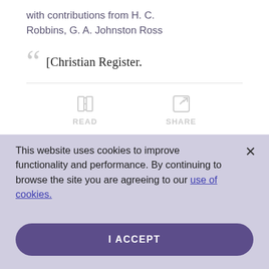with contributions from H. C. Robbins, G. A. Johnston Ross
[Christian Register.
[Figure (other): READ and SHARE action buttons with icons]
This website uses cookies to improve functionality and performance. By continuing to browse the site you are agreeing to our use of cookies.
I ACCEPT